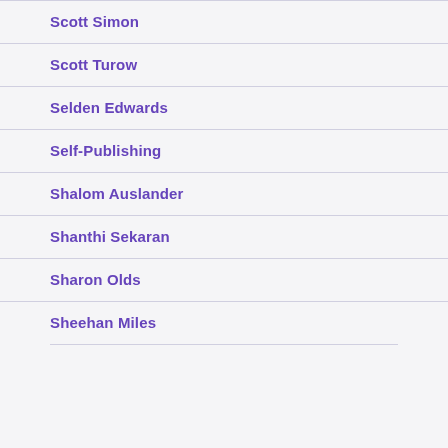Scott Simon
Scott Turow
Selden Edwards
Self-Publishing
Shalom Auslander
Shanthi Sekaran
Sharon Olds
Sheehan Miles